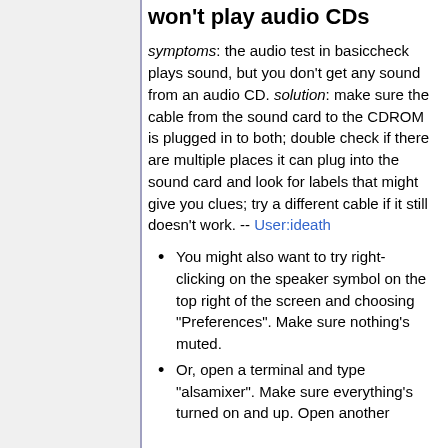won't play audio CDs
symptoms: the audio test in basiccheck plays sound, but you don't get any sound from an audio CD. solution: make sure the cable from the sound card to the CDROM is plugged in to both; double check if there are multiple places it can plug into the sound card and look for labels that might give you clues; try a different cable if it still doesn't work. -- User:ideath
You might also want to try right-clicking on the speaker symbol on the top right of the screen and choosing "Preferences". Make sure nothing's muted.
Or, open a terminal and type "alsamixer". Make sure everything's turned on and up. Open another